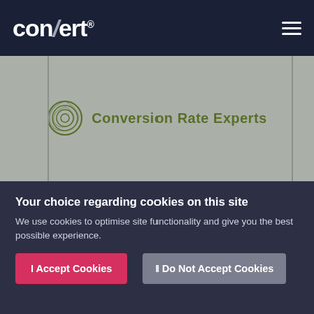[Figure (logo): Convert logo with white text and stylized slash on dark navy navbar, with hamburger menu icon on right]
[Figure (logo): Conversion Rate Experts logo: circular rose icon in olive green with text 'Conversion Rate Experts' in olive green, on gray background]
Your choice regarding cookies on this site
We use cookies to optimise site functionality and give you the best possible experience.
I Accept Cookies
I Do Not Accept Cookies
Settings